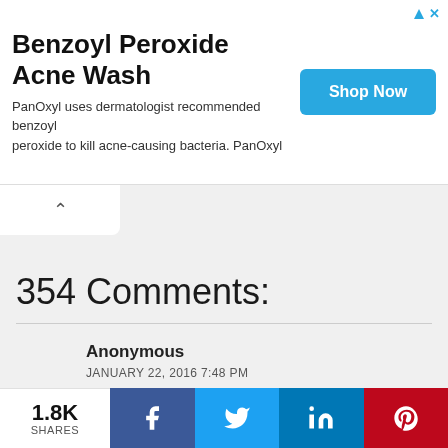[Figure (other): Advertisement banner for Benzoyl Peroxide Acne Wash by PanOxyl with a 'Shop Now' button]
354 Comments:
Anonymous
JANUARY 22, 2016 7:48 PM
Hello Piyush,

I'm you huge fan. The way you create tools to hack wifi passwords are really awesome.